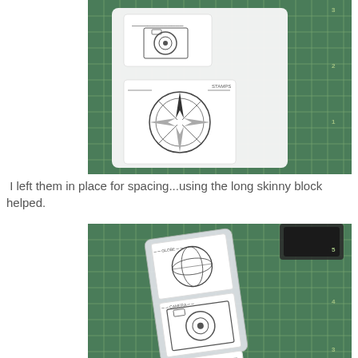[Figure (photo): Clear rubber stamps on a white acrylic block placed on a green cutting mat. Stamps show a compass rose, camera, and other travel-themed sketches in blueprint/technical drawing style.]
I left them in place for spacing...using the long skinny block helped.
[Figure (photo): Long skinny clear acrylic block with multiple travel-themed rubber stamps (globe, camera, compass) stacked vertically on it, placed on a green cutting mat. A dark ink pad is visible in the upper right corner.]